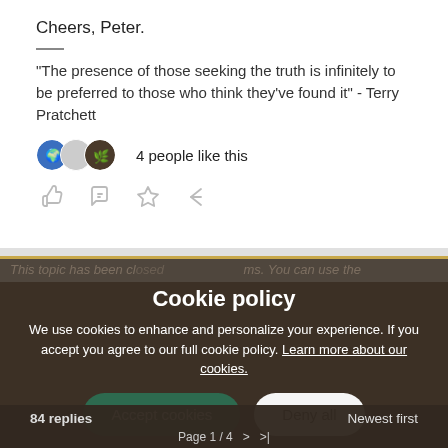Cheers, Peter.
"The presence of those seeking the truth is infinitely to be preferred to those who think they've found it" - Terry Pratchett
4 people like this
[Figure (infographic): Cookie policy modal overlay with Accept cookies and Deny all buttons, and Cookie settings link]
84 replies
Newest first
Page 1 / 4  >  >|